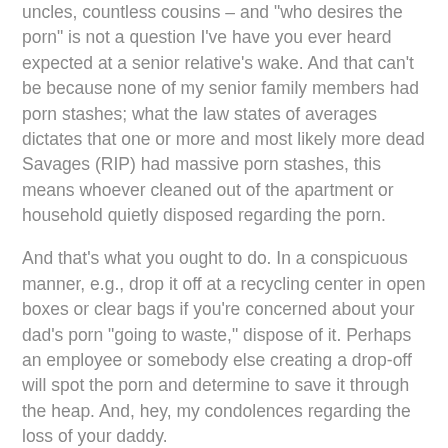uncles, countless cousins – and "who desires the porn" is not a question I've have you ever heard expected at a senior relative's wake. And that can't be because none of my senior family members had porn stashes; what the law states of averages dictates that one or more and most likely more dead Savages (RIP) had massive porn stashes, this means whoever cleaned out of the apartment or household quietly disposed regarding the porn.
And that's what you ought to do. In a conspicuous manner, e.g., drop it off at a recycling center in open boxes or clear bags if you're concerned about your dad's porn "going to waste," dispose of it. Perhaps an employee or somebody else creating a drop-off will spot the porn and determine to save it through the heap. And, hey, my condolences regarding the loss of your daddy.
We continued Grindr right before christmas this past year, this handsome dude messaged me, so we wound up setting up at his spot. It had been obvious through the get-go that it was no